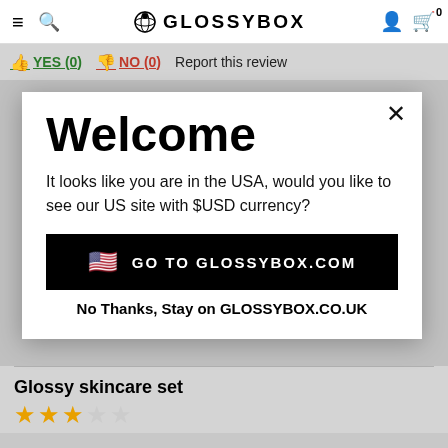≡ 🔍 GLOSSYBOX 👤 🛒 0
👍 YES (0)   👎 NO (0)   Report this review
Welcome
It looks like you are in the USA, would you like to see our US site with $USD currency?
🇺🇸 GO TO GLOSSYBOX.COM
No Thanks, Stay on GLOSSYBOX.CO.UK
Glossy skincare set
★★★☆☆ (3 out of 5 stars)